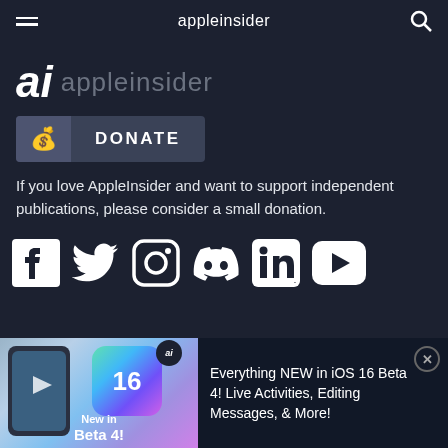appleinsider
ai appleinsider
DONATE
If you love AppleInsider and want to support independent publications, please consider a small donation.
[Figure (other): Social media icons row: Facebook, Twitter, Instagram, Discord, LinkedIn, YouTube]
[Figure (other): Bottom banner ad: Everything NEW in iOS 16 Beta 4! Live Activities, Editing Messages, & More!]
Everything NEW in iOS 16 Beta 4! Live Activities, Editing Messages, & More!